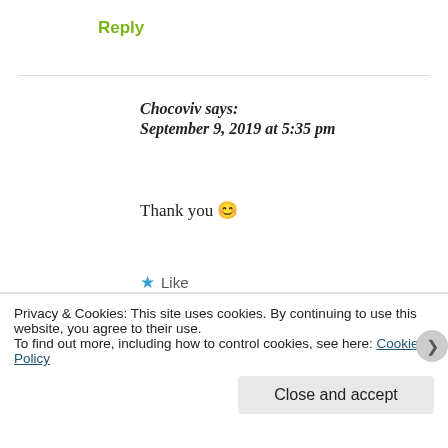Reply
Chocoviv says:
September 9, 2019 at 5:35 pm
Thank you 😊
★ Like
Reply
Privacy & Cookies: This site uses cookies. By continuing to use this website, you agree to their use.
To find out more, including how to control cookies, see here: Cookie Policy
Close and accept